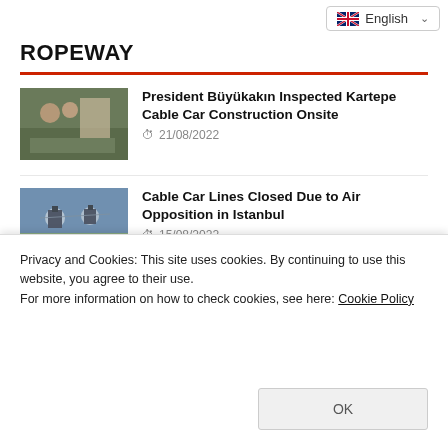English
ROPEWAY
President Büyükakın Inspected Kartepe Cable Car Construction Onsite
21/08/2022
Cable Car Lines Closed Due to Air Opposition in Istanbul
15/08/2022
Countdown Has Started for Amasya's
Privacy and Cookies: This site uses cookies. By continuing to use this website, you agree to their use.
For more information on how to check cookies, see here: Cookie Policy
OK
Istanbulites Attention! Hacı Osman Bayırı